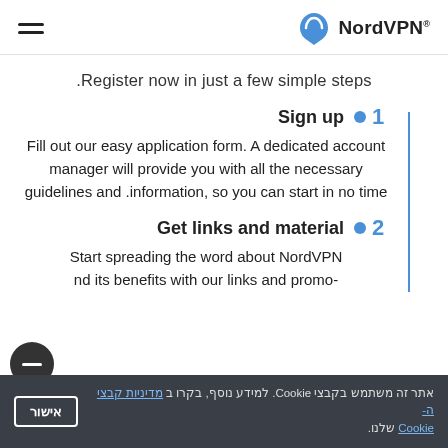NordVPN®
Register now in just a few simple steps.
Sign up • 1
Fill out our easy application form. A dedicated account manager will provide you with all the necessary guidelines and information, so you can start in no time.
Get links and material • 2
Start spreading the word about NordVPN and its benefits with our links and promo-
אתר זה משתמש בקבצי Cookie. למידע נוסף, בקרו ב מדיניות קבצי ה-Cookie שלנו. | אישור